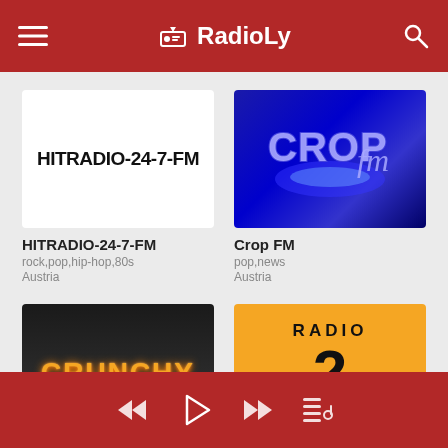RadioLy
[Figure (logo): HITRADIO-24-7-FM logo in black text on white background]
HITRADIO-24-7-FM
rock,pop,hip-hop,80s
Austria
[Figure (logo): CROP fm logo in blue glowing text on dark blue background]
Crop FM
pop,news
Austria
[Figure (logo): CRUNCHY text in fiery orange glow on dark background]
Crunchy
[Figure (logo): Radio 2 DVA logo with large 2 on orange background]
Radio Dva
player controls: rewind, play, fast-forward, playlist